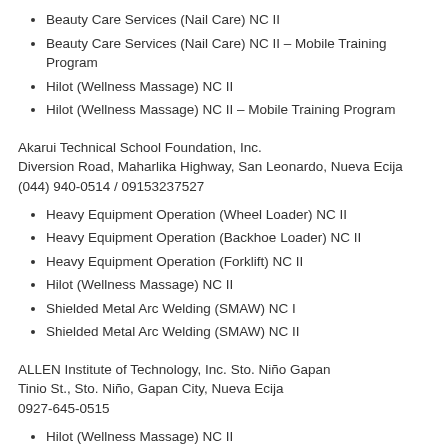Beauty Care Services (Nail Care) NC II
Beauty Care Services (Nail Care) NC II – Mobile Training Program
Hilot (Wellness Massage) NC II
Hilot (Wellness Massage) NC II – Mobile Training Program
Akarui Technical School Foundation, Inc.
Diversion Road, Maharlika Highway, San Leonardo, Nueva Ecija
(044) 940-0514 / 09153237527
Heavy Equipment Operation (Wheel Loader) NC II
Heavy Equipment Operation (Backhoe Loader) NC II
Heavy Equipment Operation (Forklift) NC II
Hilot (Wellness Massage) NC II
Shielded Metal Arc Welding (SMAW) NC I
Shielded Metal Arc Welding (SMAW) NC II
ALLEN Institute of Technology, Inc. Sto. Niño Gapan
Tinio St., Sto. Niño, Gapan City, Nueva Ecija
0927-645-0515
Hilot (Wellness Massage) NC II
Hilot (Wellness Massage) NC II – Mobile Training Program